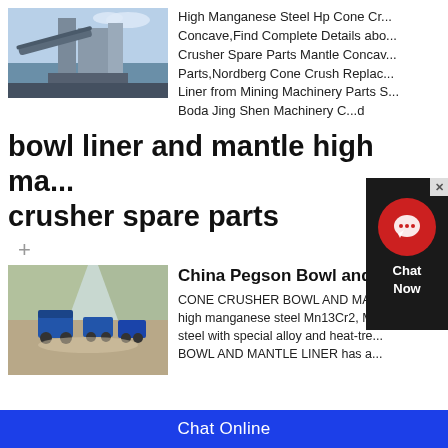[Figure (photo): Industrial cone crusher machinery with conveyor belt, outdoor industrial setting]
High Manganese Steel Hp Cone Cr... Concave,Find Complete Details abo... Crusher Spare Parts Mantle Concav... Parts,Nordberg Cone Crush Replac... Liner from Mining Machinery Parts S... Boda Jing Shen Machinery C...d
bowl liner and mantle high ma... crusher spare parts
+
[Figure (photo): Aerial view of mobile cone crushers working at a quarry or mining site with blue machinery]
China Pegson Bowl and...
CONE CRUSHER BOWL AND MAN... high manganese steel Mn13Cr2, Mn... steel with special alloy and heat-tre... BOWL AND MANTLE LINER has a...
Chat Online